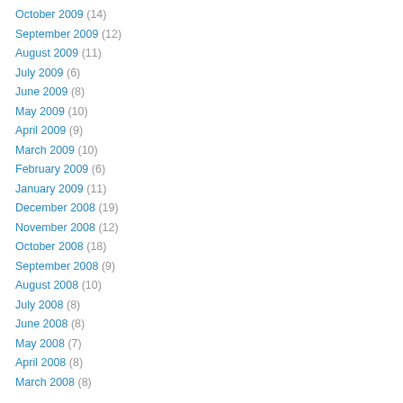October 2009 (14)
September 2009 (12)
August 2009 (11)
July 2009 (6)
June 2009 (8)
May 2009 (10)
April 2009 (9)
March 2009 (10)
February 2009 (6)
January 2009 (11)
December 2008 (19)
November 2008 (12)
October 2008 (18)
September 2008 (9)
August 2008 (10)
July 2008 (8)
June 2008 (8)
May 2008 (7)
April 2008 (8)
March 2008 (8)